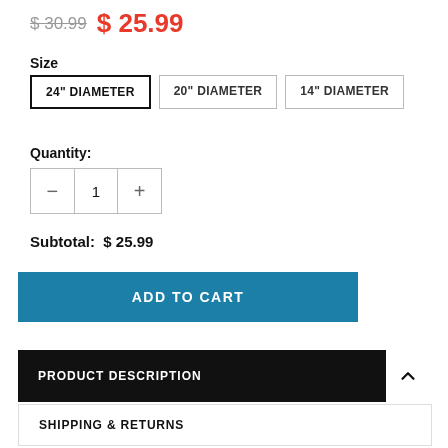$ 30.99  $ 25.99
Size
24" DIAMETER  20" DIAMETER  14" DIAMETER
Quantity:
— 1 +
Subtotal: $ 25.99
ADD TO CART
PRODUCT DESCRIPTION
SHIPPING & RETURNS